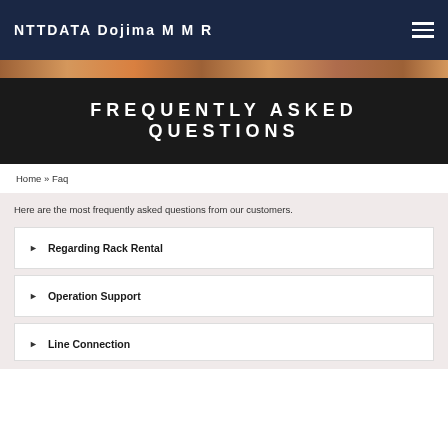NTTDATA Dojima MMR
FREQUENTLY ASKED QUESTIONS
Home » Faq
Here are the most frequently asked questions from our customers.
Regarding Rack Rental
Operation Support
Line Connection